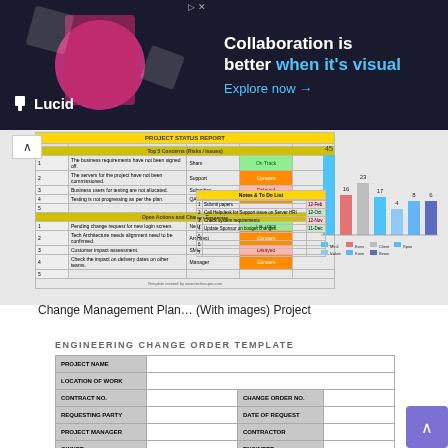[Figure (screenshot): Lucid advertisement banner with dark background, Lucid logo, person image, text 'Collaboration is better when it's visual', 'Explore now →' link]
[Figure (screenshot): Screenshot of a Change Management Plan template with project status table and bar chart showing values 45, 16, 23, 17, 4, 8, 6]
Change Management Plan… (With images) Project
ENGINEERING CHANGE ORDER TEMPLATE
| PROJECT NAME |  |
| LOCATION OF WORK |  |
| CONTRACT NO. |  | CHANGE ORDER NO. |  |
| REQUESTING PARTY |  | DATE OF REQUEST |  |
| PROJECT MANAGER |  | CONTRACTOR |  |
| OWNER |  | ENGINEER |  |
CHANGE OVERVIEW
| DRAWING / DESCRIPTION OF CHANGE | List and attach any pertinent documentation. |